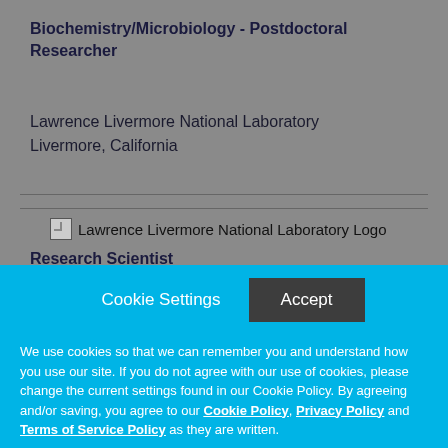Biochemistry/Microbiology - Postdoctoral Researcher
Lawrence Livermore National Laboratory
Livermore, California
[Figure (logo): Lawrence Livermore National Laboratory Logo (broken image icon with alt text)]
Research Scientist
Cookie Settings  Accept
We use cookies so that we can remember you and understand how you use our site. If you do not agree with our use of cookies, please change the current settings found in our Cookie Policy. By agreeing and/or saving, you agree to our Cookie Policy, Privacy Policy and Terms of Service Policy as they are written.